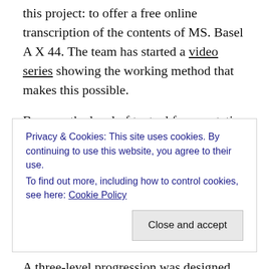this project: to offer a free online transcription of the contents of MS. Basel A X 44. The team has started a video series showing the working method that makes this possible.
Because the level of textual fragmentation was not clear at first, the content was simply divided by folia, following only the larger segments, such as the ones introduced by a title of sorts, regardless of content. Each of us is in charge of transcribing around fifteen folia.
A three-level progression was designed for this process.
Privacy & Cookies: This site uses cookies. By continuing to use this website, you agree to their use.
To find out more, including how to control cookies, see here: Cookie Policy